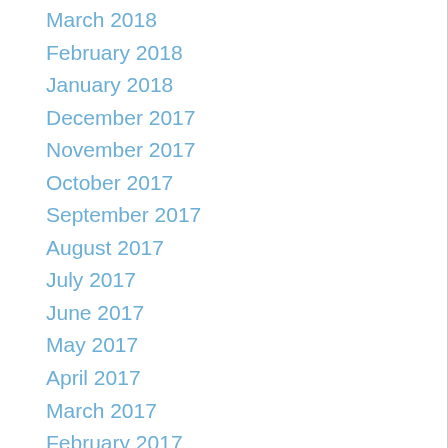March 2018
February 2018
January 2018
December 2017
November 2017
October 2017
September 2017
August 2017
July 2017
June 2017
May 2017
April 2017
March 2017
February 2017
January 2017
December 2016
November 2016
October 2016
September 2016
August 2016
June 2016
May 2016